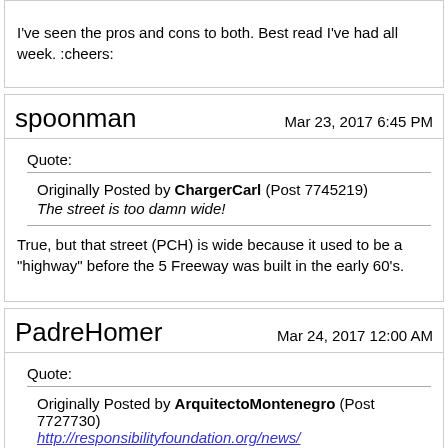I've seen the pros and cons to both. Best read I've had all week. :cheers:
spoonman
Mar 23, 2017 6:45 PM
Quote:
Originally Posted by ChargerCarl (Post 7745219)
The street is too damn wide!
True, but that street (PCH) is wide because it used to be a "highway" before the 5 Freeway was built in the early 60's.
PadreHomer
Mar 24, 2017 12:00 AM
Quote:
Originally Posted by ArquitectoMontenegro (Post 7727730)
http://responsibilityfoundation.org/news/

http://www.statuefund.org/images/con...about-lg-2.jpg
https://www.themarriageboss.com/wp-c.../gallery-6.jpg

This project was in City Beat recently, I guess San Diego is
This project was in City Beat recently, I guess San Diego is